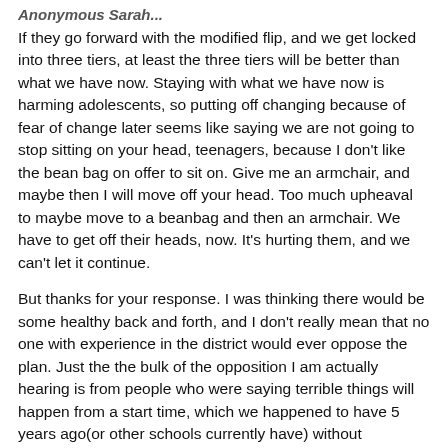Anonymous Sarah...
If they go forward with the modified flip, and we get locked into three tiers, at least the three tiers will be better than what we have now. Staying with what we have now is harming adolescents, so putting off changing because of fear of change later seems like saying we are not going to stop sitting on your head, teenagers, because I don't like the bean bag on offer to sit on. Give me an armchair, and maybe then I will move off your head. Too much upheaval to maybe move to a beanbag and then an armchair. We have to get off their heads, now. It's hurting them, and we can't let it continue.
But thanks for your response. I was thinking there would be some healthy back and forth, and I don't really mean that no one with experience in the district would ever oppose the plan. Just the the bulk of the opposition I am actually hearing is from people who were saying terrible things will happen from a start time, which we happened to have 5 years ago(or other schools currently have) without